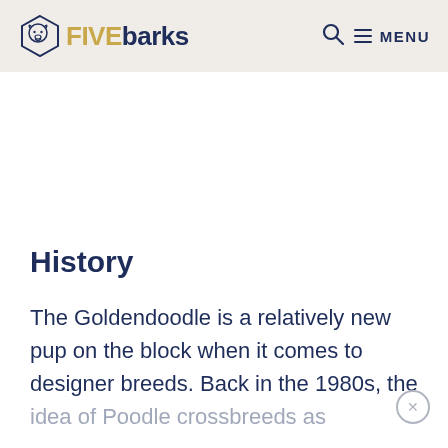FIVE barks — Q MENU
History
The Goldendoodle is a relatively new pup on the block when it comes to designer breeds. Back in the 1980s, the idea of Poodle crossbreeds as